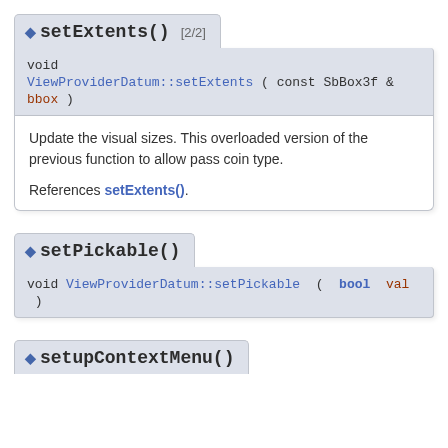◆ setExtents() [2/2]
void ViewProviderDatum::setExtents ( const SbBox3f & bbox )
Update the visual sizes. This overloaded version of the previous function to allow pass coin type.
References setExtents().
◆ setPickable()
void ViewProviderDatum::setPickable ( bool val )
◆ setupContextMenu()